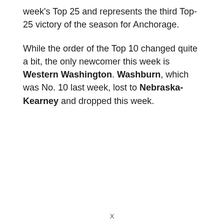week's Top 25 and represents the third Top-25 victory of the season for Anchorage.
While the order of the Top 10 changed quite a bit, the only newcomer this week is Western Washington. Washburn, which was No. 10 last week, lost to Nebraska-Kearney and dropped this week.
X